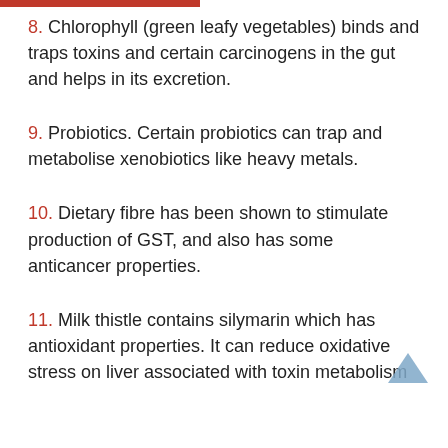8. Chlorophyll (green leafy vegetables) binds and traps toxins and certain carcinogens in the gut and helps in its excretion.
9. Probiotics. Certain probiotics can trap and metabolise xenobiotics like heavy metals.
10. Dietary fibre has been shown to stimulate production of GST, and also has some anticancer properties.
11. Milk thistle contains silymarin which has antioxidant properties. It can reduce oxidative stress on liver associated with toxin metabolism